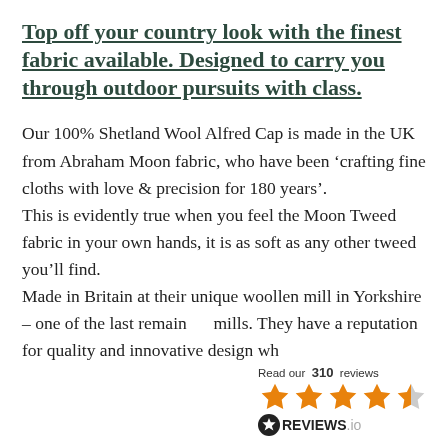Top off your country look with the finest fabric available. Designed to carry you through outdoor pursuits with class.
Our 100% Shetland Wool Alfred Cap is made in the UK from Abraham Moon fabric, who have been ‘crafting fine cloths with love & precision for 180 years’.
This is evidently true when you feel the Moon Tweed fabric in your own hands, it is as soft as any other tweed you’ll find.
Made in Britain at their unique woollen mill in Yorkshire – one of the last remaining mills. They have a reputation for quality and innovative design wh
[Figure (infographic): Reviews.io widget showing 'Read our 310 reviews' with 4.5 star rating and REVIEWS.io logo]